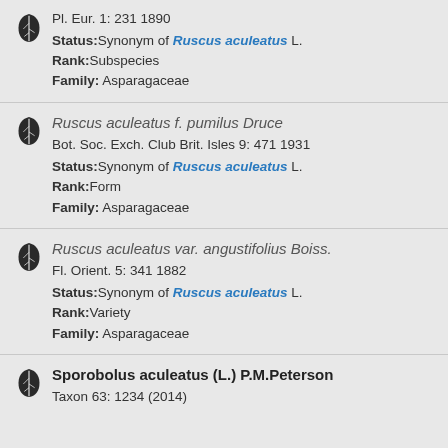Pl. Eur. 1: 231 1890
Status: Synonym of Ruscus aculeatus L.
Rank: Subspecies
Family: Asparagaceae
Ruscus aculeatus f. pumilus Druce
Bot. Soc. Exch. Club Brit. Isles 9: 471 1931
Status: Synonym of Ruscus aculeatus L.
Rank: Form
Family: Asparagaceae
Ruscus aculeatus var. angustifolius Boiss.
Fl. Orient. 5: 341 1882
Status: Synonym of Ruscus aculeatus L.
Rank: Variety
Family: Asparagaceae
Sporobolus aculeatus (L.) P.M.Peterson
Taxon 63: 1234 (2014)